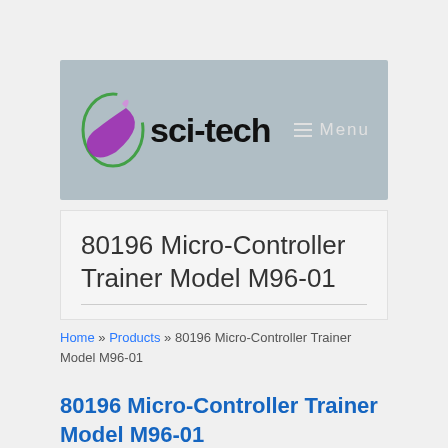[Figure (logo): sci-tech company logo with green and purple swoosh graphic and bold 'sci-tech' text]
80196 Micro-Controller Trainer Model M96-01
Home » Products » 80196 Micro-Controller Trainer Model M96-01
80196 Micro-Controller Trainer Model M96-01